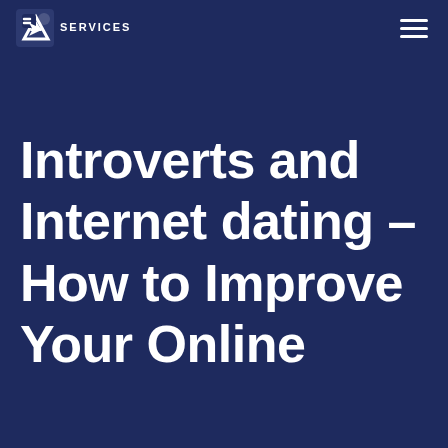SERVICES
Introverts and Internet dating – How to Improve Your Online